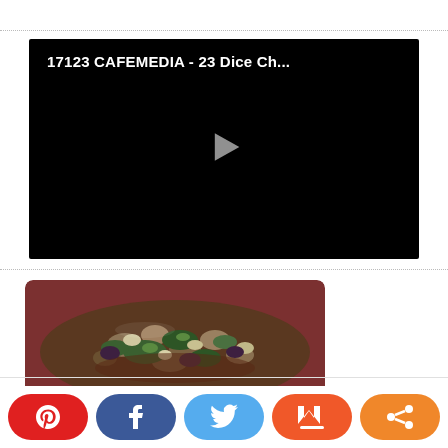[Figure (screenshot): Video player thumbnail with black background showing title '17123 CAFEMEDIA - 23 Dice Ch...' and a play button in the center]
[Figure (photo): Food photo showing a dish of sautéed mushrooms, kale/spinach, and other vegetables on a dark red plate]
[Figure (infographic): Social sharing buttons bar with Pinterest (red), Facebook (blue), Twitter (light blue), Mix (orange-red), and Share (orange) buttons]